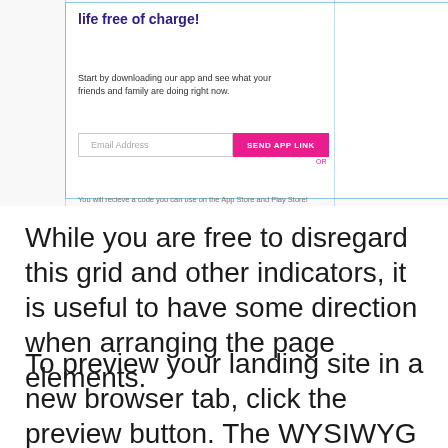[Figure (screenshot): Screenshot of a landing page showing a headline 'life free of charge!' in dark purple bold text, body text about downloading an app, an email input field, a pink 'SEND APP LINK' button, and a phone mockup displaying a mountain/snow landscape photo on the right side.]
While you are free to disregard this grid and other indicators, it is useful to have some direction when arranging the page elements.
To preview your landing site in a new browser tab, click the preview button. The WYSIWYG interface of the page builders means that you don't have to